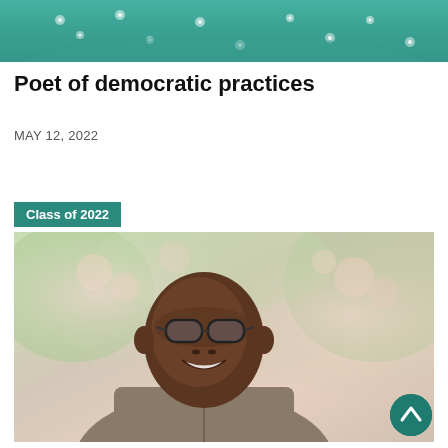[Figure (photo): Partial photo at top of page showing a person wearing a green floral top, cropped to show only the torso/shoulder area]
Poet of democratic practices
MAY 12, 2022
Class of 2022
[Figure (photo): Portrait photo of a young Black man wearing glasses and a grey/brown polo shirt, smiling broadly, with a blurred outdoor background of flowering trees]